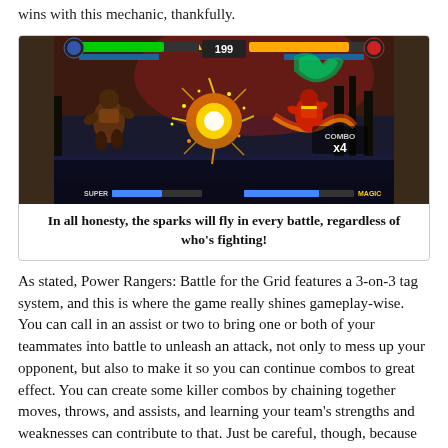wins with this mechanic, thankfully.
[Figure (screenshot): Screenshot from Power Rangers: Battle for the Grid showing two fighters battling with sparks and explosion effects. HUD shows health bars, timer reading 199, and COMBO x4 counter. SUPER bar visible at bottom.]
In all honesty, the sparks will fly in every battle, regardless of who's fighting!
As stated, Power Rangers: Battle for the Grid features a 3-on-3 tag system, and this is where the game really shines gameplay-wise. You can call in an assist or two to bring one or both of your teammates into battle to unleash an attack, not only to mess up your opponent, but also to make it so you can continue combos to great effect. You can create some killer combos by chaining together moves, throws, and assists, and learning your team's strengths and weaknesses can contribute to that. Just be careful, though, because